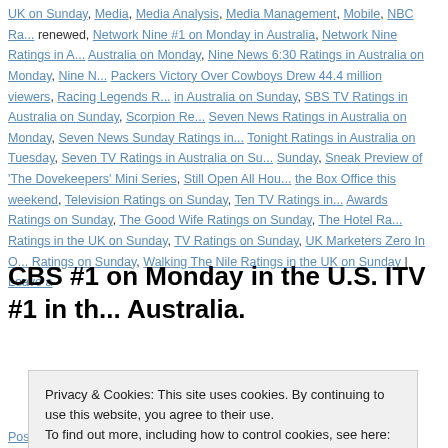UK on Sunday, Media, Media Analysis, Media Management, Mobile, NBC Ra... renewed, Network Nine #1 on Monday in Australia, Network Nine Ratings in A... Australia on Monday, Nine News 6:30 Ratings in Australia on Monday, Nine N... Packers Victory Over Cowboys Drew 44.4 million viewers, Racing Legends R... in Australia on Sunday, SBS TV Ratings in Australia on Sunday, Scorpion Re... Seven News Ratings in Australia on Monday, Seven News Sunday Ratings in... Tonight Ratings in Australia on Tuesday, Seven TV Ratings in Australia on Su... Sunday, Sneak Preview of 'The Dovekeepers' Mini Series, Still Open All Hou... the Box Office this weekend, Television Ratings on Sunday, Ten TV Ratings i... Awards Ratings on Sunday, The Good Wife Ratings on Sunday, The Hotel Ra... Ratings in the UK on Sunday, TV Ratings on Sunday, UK Marketers Zero In O... Ratings on Sunday, Walking The Nile Ratings in the UK on Sunday | Leave a
CBS #1 on Monday in the U.S. ITV #1 in th... Australia.
Privacy & Cookies: This site uses cookies. By continuing to use this website, you agree to their use.
To find out more, including how to control cookies, see here: Our Cookie Policy
Close and accept
Posted in Au... Au... Au... Ma... Broadcast TV Ra...